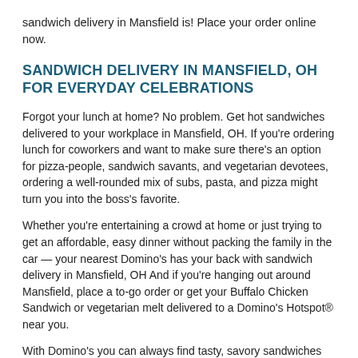sandwich delivery in Mansfield is! Place your order online now.
SANDWICH DELIVERY IN MANSFIELD, OH FOR EVERYDAY CELEBRATIONS
Forgot your lunch at home? No problem. Get hot sandwiches delivered to your workplace in Mansfield, OH. If you're ordering lunch for coworkers and want to make sure there's an option for pizza-people, sandwich savants, and vegetarian devotees, ordering a well-rounded mix of subs, pasta, and pizza might turn you into the boss's favorite.
Whether you're entertaining a crowd at home or just trying to get an affordable, easy dinner without packing the family in the car — your nearest Domino's has your back with sandwich delivery in Mansfield, OH And if you're hanging out around Mansfield, place a to-go order or get your Buffalo Chicken Sandwich or vegetarian melt delivered to a Domino's Hotspot® near you.
With Domino's you can always find tasty, savory sandwiches near you in Mansfield. So, go ahead — say goodbye to the deli counter and embrace all the goodness our hot sub menu has to